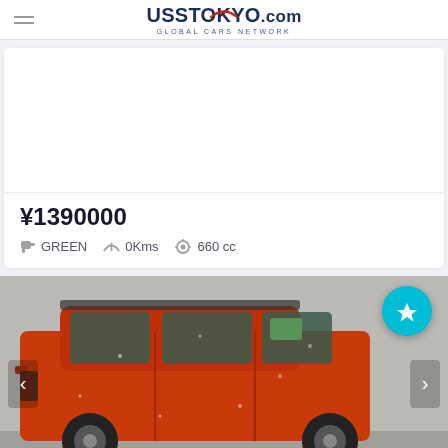UssTokyo.com GLOBAL CARS NETWORK
[Figure (photo): White blank image placeholder area above the price listing card]
¥1390000
GREEN  0Kms  660 cc
[Figure (photo): Photo of a red compact SUV/kei car with snow or rain on it, shown from the side, in a parking or auction lot setting]